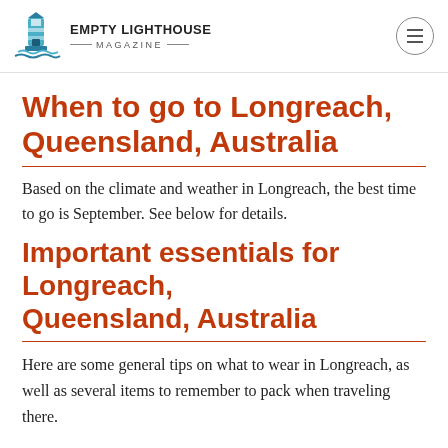EMPTY LIGHTHOUSE MAGAZINE
When to go to Longreach, Queensland, Australia
Based on the climate and weather in Longreach, the best time to go is September. See below for details.
Important essentials for Longreach, Queensland, Australia
Here are some general tips on what to wear in Longreach, as well as several items to remember to pack when traveling there.